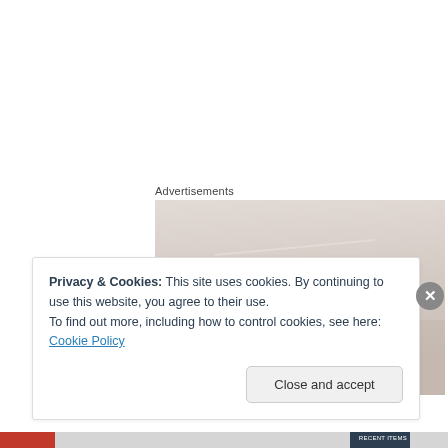Advertisements
[Figure (photo): Advertisement photo showing a person's head/hair against a light sky background]
[Figure (logo): Day One Journal app logo: blue rounded square with bookmark icon, text DAYONE JOURNAL below]
Privacy & Cookies: This site uses cookies. By continuing to use this website, you agree to their use.
To find out more, including how to control cookies, see here: Cookie Policy
Close and accept